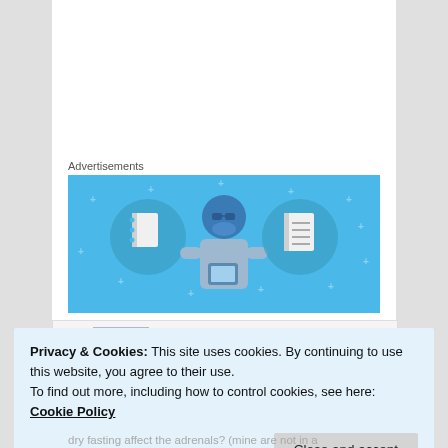Advertisements
[Figure (illustration): Advertisement banner with light blue background showing a cartoon person holding a phone, flanked by two circular icons of notebooks/documents.]
[Figure (photo): Comment section with a gray avatar placeholder square and speech bubble/arrow shape to the left.]
Privacy & Cookies: This site uses cookies. By continuing to use this website, you agree to their use.
To find out more, including how to control cookies, see here: Cookie Policy
Close and accept
dry fasting affect the adrenals? (mine are not in a